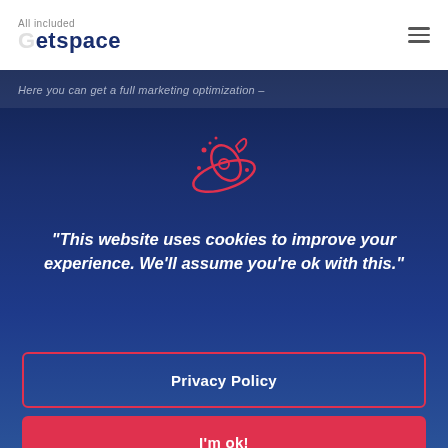Getspace — All included
Here you can get a full marketing optimization –
[Figure (illustration): Red outline icon of a rocket/spaceship with orbit ring and small stars/dots, on dark blue background]
“This website uses cookies to improve your experience. We’ll assume you’re ok with this.”
Privacy Policy
I'm ok!